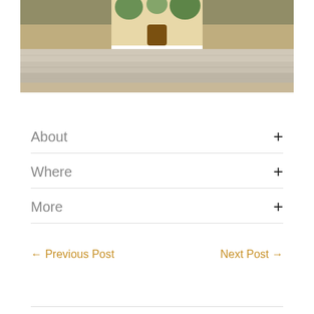[Figure (photo): Exterior photo of a building with stone steps, wood railings, palm trees, and a classical facade with arched doorway]
About +
Where +
More +
← Previous Post    Next Post →